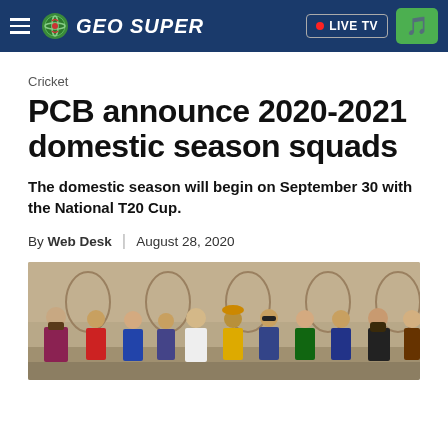GEO SUPER — LIVE TV
Cricket
PCB announce 2020-2021 domestic season squads
The domestic season will begin on September 30 with the National T20 Cup.
By Web Desk | August 28, 2020
[Figure (photo): Group photo of cricket team representatives in jerseys standing together indoors]